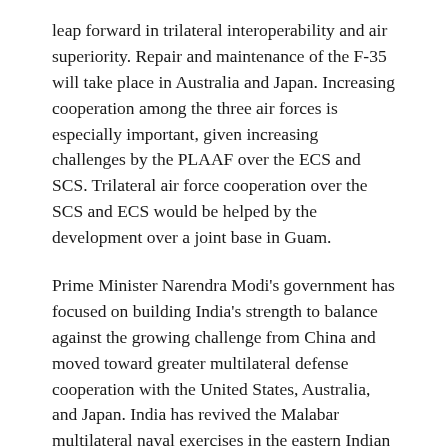leap forward in trilateral interoperability and air superiority. Repair and maintenance of the F-35 will take place in Australia and Japan. Increasing cooperation among the three air forces is especially important, given increasing challenges by the PLAAF over the ECS and SCS. Trilateral air force cooperation over the SCS and ECS would be helped by the development over a joint base in Guam.
Prime Minister Narendra Modi's government has focused on building India's strength to balance against the growing challenge from China and moved toward greater multilateral defense cooperation with the United States, Australia, and Japan. India has revived the Malabar multilateral naval exercises in the eastern Indian Ocean, and India, Japan and the United States have held joint naval exercises in the South China Sea.